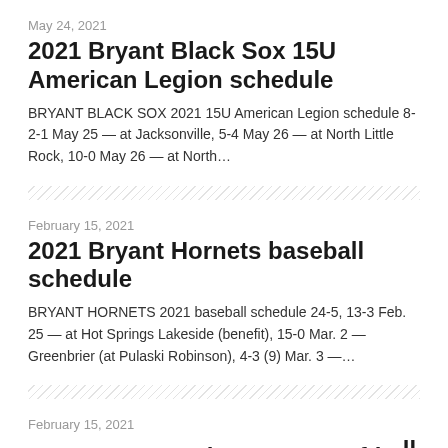May 24, 2021
2021 Bryant Black Sox 15U American Legion schedule
BRYANT BLACK SOX 2021 15U American Legion schedule 8-2-1 May 25 — at Jacksonville, 5-4 May 26 — at North Little Rock, 10-0 May 26 — at North…
February 15, 2021
2021 Bryant Hornets baseball schedule
BRYANT HORNETS 2021 baseball schedule 24-5, 13-3 Feb. 25 — at Hot Springs Lakeside (benefit), 15-0 Mar. 2 — Greenbrier (at Pulaski Robinson), 4-3 (9) Mar. 3 —…
February 15, 2021
2021 Bryant Lady Hornets softball